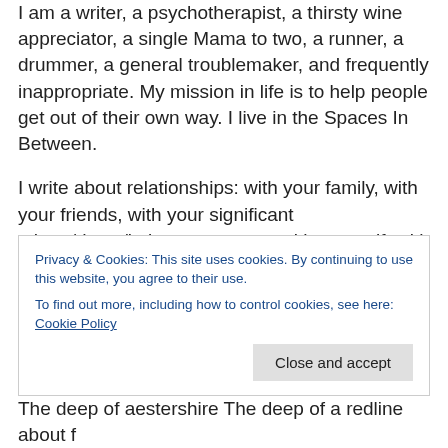I am a writer, a psychotherapist, a thirsty wine appreciator, a single Mama to two, a runner, a drummer, a general troublemaker, and frequently inappropriate. My mission in life is to help people get out of their own way. I live in the Spaces In Between.
I write about relationships: with your family, with your friends, with your significant others/dates/intimate partners, with yourself, with your community, with the world at large. These connections are who we are. It is in these relationships that we make a difference in this world. It is these connections that are our legacies. I know this to
Privacy & Cookies: This site uses cookies. By continuing to use this website, you agree to their use.
To find out more, including how to control cookies, see here: Cookie Policy
Close and accept
The deep of aestershire The deep of a redline about f